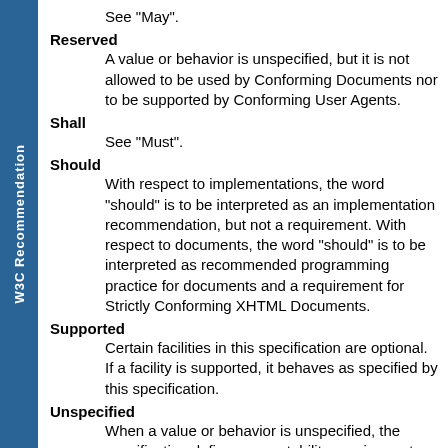W3C Recommendation
Reserved
A value or behavior is unspecified, but it is not allowed to be used by Conforming Documents nor to be supported by Conforming User Agents.
Shall
See "Must".
Should
With respect to implementations, the word "should" is to be interpreted as an implementation recommendation, but not a requirement. With respect to documents, the word "should" is to be interpreted as recommended programming practice for documents and a requirement for Strictly Conforming XHTML Documents.
Supported
Certain facilities in this specification are optional. If a facility is supported, it behaves as specified by this specification.
Unspecified
When a value or behavior is unspecified, the specification defines no portability requirements for a facility on an